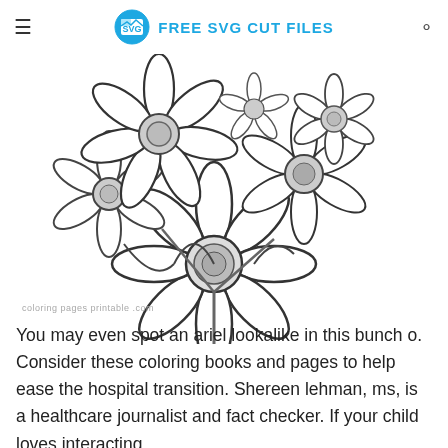FREE SVG CUT FILES
[Figure (illustration): A coloring page illustration of a bouquet of flowers including daisies and other blooms, drawn in black outline style on white background. Partially cropped from the top.]
coloring pages printable .com
You may even spot an ariel lookalike in this bunch o. Consider these coloring books and pages to help ease the hospital transition. Shereen lehman, ms, is a healthcare journalist and fact checker. If your child loves interacting.